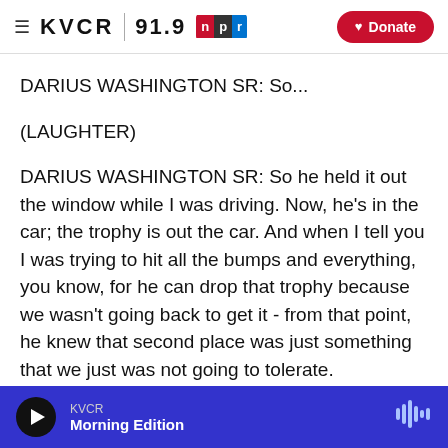KVCR 91.9 NPR | Donate
DARIUS WASHINGTON SR: So...
(LAUGHTER)
DARIUS WASHINGTON SR: So he held it out the window while I was driving. Now, he's in the car; the trophy is out the car. And when I tell you I was trying to hit all the bumps and everything, you know, for he can drop that trophy because we wasn't going back to get it - from that point, he knew that second place was just something that we just was not going to tolerate.
KVCR | Morning Edition